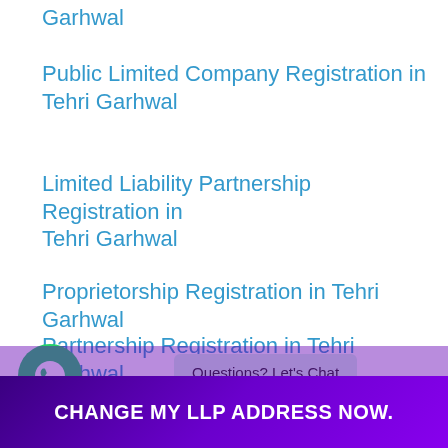Garhwal
Public Limited Company Registration in Tehri Garhwal
Limited Liability Partnership Registration in Tehri Garhwal
Proprietorship Registration in Tehri Garhwal
Partnership Registration in Tehri Garhwal
Section 8 Company Registration in Tehri
Questions? Let's Chat
CHANGE MY LLP ADDRESS NOW.